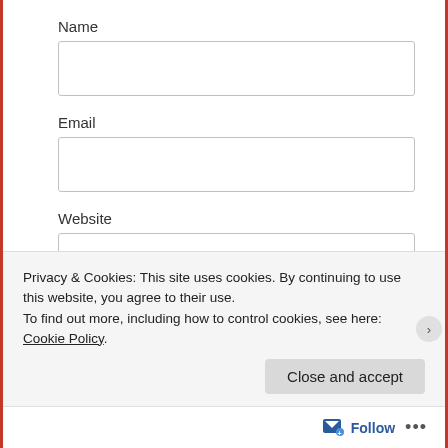Name
Email
Website
Post Comment
Notify me of new comments via email.
Privacy & Cookies: This site uses cookies. By continuing to use this website, you agree to their use.
To find out more, including how to control cookies, see here: Cookie Policy
Close and accept
Follow